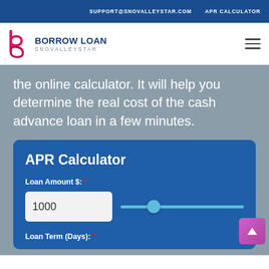SUPPORT@SNOVALLEYSTAR.COM   APR CALCULATOR
[Figure (logo): Borrow Loan SnovalleyStar logo with stylized 'b' icon in pink/red, company name in dark blue bold text, subtitle in gray]
the online calculator. It will help you determine the real cost of the cash advance loan in a few minutes.
APR Calculator
Loan Amount $: * 1000
Loan Term (Days): *